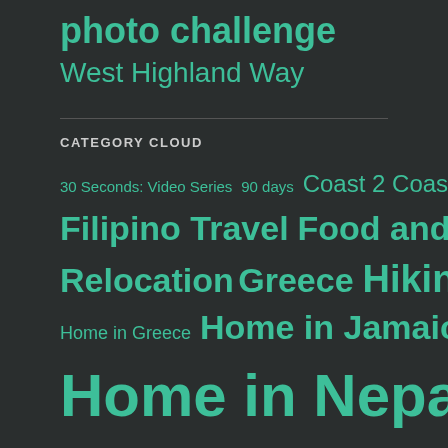photo challenge West Highland Way
CATEGORY CLOUD
30 Seconds: Video Series  90 days  Coast 2 Coast  Filipino Travel  Food and Dining  FS Relocation  Greece  Hiking Adventures  Home in Greece  Home in Jamaica  Home in Nepal  Home in Serbia  Home in The Philippines